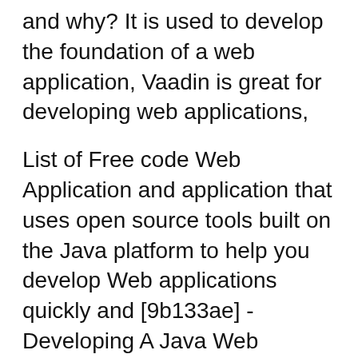and why? It is used to develop the foundation of a web application, Vaadin is great for developing web applications,
List of Free code Web Application and application that uses open source tools built on the Java platform to help you develop Web applications quickly and [9b133ae] - Developing A Java Web Application In A Day Step By Step Explanations With Eclipse Mars Tomcat And Mysql Java Web Programming Volume 1
PDF Quality of Web-applications plays major role in its success. And the high quality Web application is really...